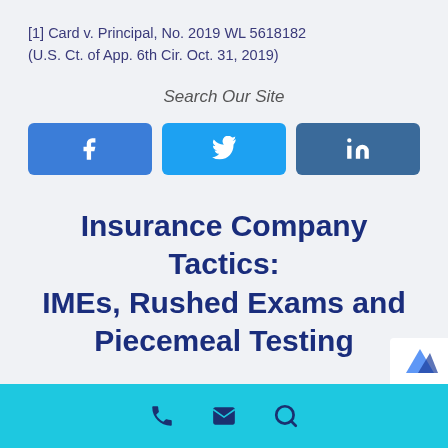[1] Card v. Principal, No. 2019 WL 5618182 (U.S. Ct. of App. 6th Cir. Oct. 31, 2019)
Search Our Site
[Figure (infographic): Three social media share buttons: Facebook (blue), Twitter (light blue), LinkedIn (dark blue)]
Insurance Company Tactics: IMEs, Rushed Exams and Piecemeal Testing
Footer bar with phone, email, and search icons